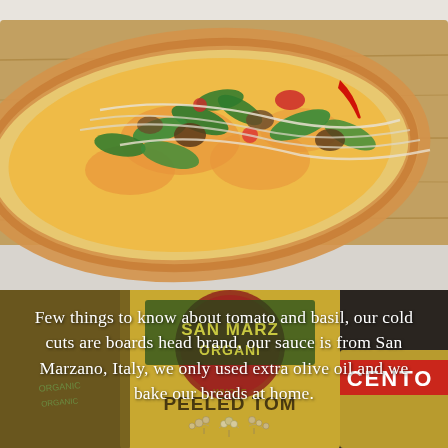[Figure (photo): Close-up photo of a pizza slice on a wooden board, topped with spinach, mushrooms, tomatoes, onions, red pepper, and melted cheese on a golden crust]
[Figure (photo): Darkened background photo of San Marzano Organic canned peeled tomatoes and Cento brand cans on a shelf]
Few things to know about tomato and basil, our cold cuts are boards head brand, our sauce is from San Marzano, Italy, we only used extra olive oil and we bake our breads at home.